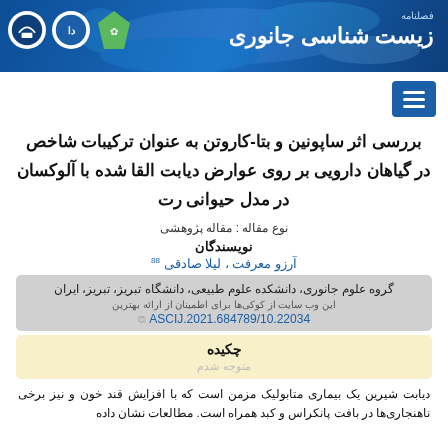[Figure (illustration): Blue header banner with microscopic/biological background image, journal name in Persian: فصلنامه زیست شناسی جانوری, with university logos on the left]
بررسی اثر ساپونین و بتا-کاروتن به عنوان ترکیبات شاخص در گیاهان دارویی بر روی عوارض دیابت القا شده با آلوکسان در مدل حیوانی رت
نوع مقاله : مقاله پژوهشی
نویسندگان
آرزو معرفت ، لیلا صادقی 88
گروه علوم جانوری، دانشکده علوم طبیعی، دانشگاه تبریز، تبریز، ایران
این وب سایت از کوکی‌ها برای اطمینان از ارائه بهترین
10.22034/ASCIJ.2021.684789
چکیده
متوجه شدم
دیابت شیرین یک بیماری متابولیک مزمن است که با افزایش قند خون و نیز برخی ناهنجاری‌ها در بافت پانکراس و کبد همراه است. مطالعات نشان داده